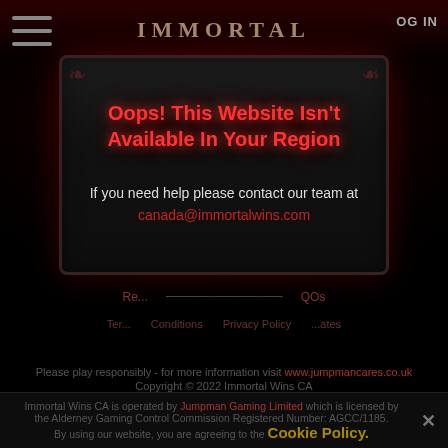Immortal
Oops! This Website Isn't Available In Your Region
If you need help please contact our team at canada@immortalwins.com
Re... FAQs
Terms & Conditions   Privacy Policy   ...ates
Please play responsibly - for more information visit www.jumpmancares.co.uk
Copyright © 2022 Immortal Wins CA
Immortal Wins CA is operated by Jumpman Gaming Limited which is licensed by the Alderney Gaming Control Commission Registered Number: AGCC/1185.
By using our website, you are agreeing to the Cookie Policy.